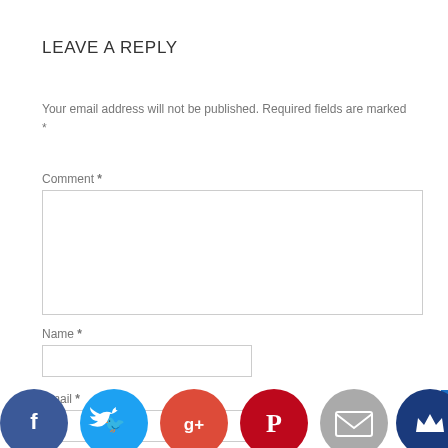LEAVE A REPLY
Your email address will not be published. Required fields are marked *
Comment *
Name *
Email *
[Figure (infographic): Social media share buttons row at bottom: Facebook (blue circle with f), Twitter (blue circle with bird), Google+ (red circle with g+), Pinterest (dark red circle with P), Email (gray circle with envelope), Crown/other (dark blue circle with crown icon)]